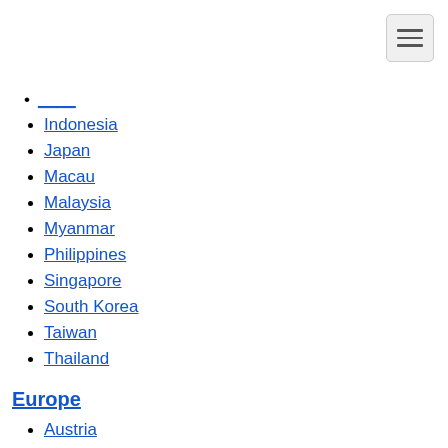Indonesia
Japan
Macau
Malaysia
Myanmar
Philippines
Singapore
South Korea
Taiwan
Thailand
Europe
Austria
Belgium
Croatia
Czech Republic
England
France
Holland
Hungary